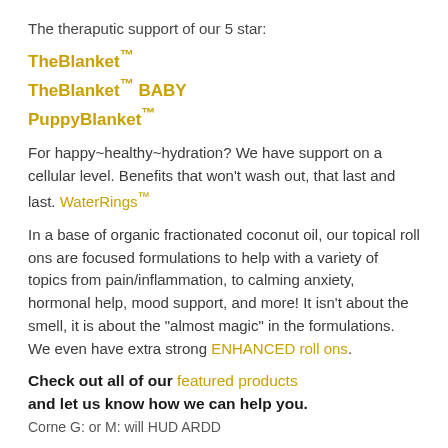The theraputic support of our 5 star:
TheBlanket™
TheBlanket™ BABY
PuppyBlanket™
For happy~healthy~hydration? We have support on a cellular level. Benefits that won't wash out, that last and last. WaterRings™
In a base of organic fractionated coconut oil, our topical roll ons are focused formulations to help with a variety of topics from pain/inflammation, to calming anxiety, hormonal help, mood support, and more! It isn't about the smell, it is about the "almost magic" in the formulations. We even have extra strong ENHANCED roll ons.
Check out all of our featured products and let us know how we can help you.
Corne G: or M: will HUD ARDD